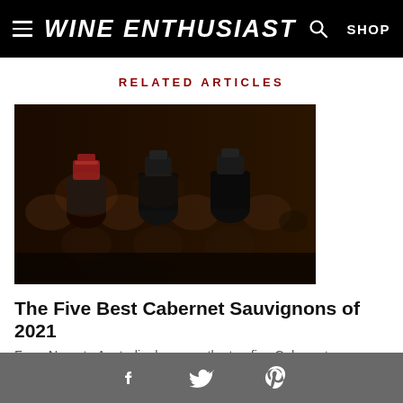WINE ENTHUSIAST
RELATED ARTICLES
[Figure (photo): Wine bottles stacked in a rack, close-up showing dark bottles with black and red capsules]
The Five Best Cabernet Sauvignons of 2021
From Napa to Australia, here are the top five Cabernet Sauvignons culled from our annual Enthusiast 100 list with styles for every budget.
[Figure (photo): Red wine being poured into a glass on a wooden surface]
Facebook Twitter Pinterest social icons